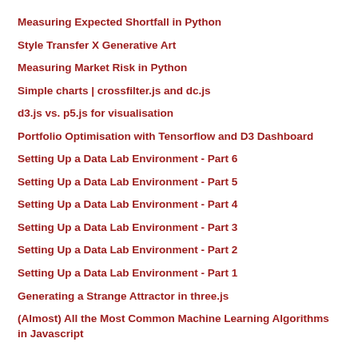Measuring Expected Shortfall in Python
Style Transfer X Generative Art
Measuring Market Risk in Python
Simple charts | crossfilter.js and dc.js
d3.js vs. p5.js for visualisation
Portfolio Optimisation with Tensorflow and D3 Dashboard
Setting Up a Data Lab Environment - Part 6
Setting Up a Data Lab Environment - Part 5
Setting Up a Data Lab Environment - Part 4
Setting Up a Data Lab Environment - Part 3
Setting Up a Data Lab Environment - Part 2
Setting Up a Data Lab Environment - Part 1
Generating a Strange Attractor in three.js
(Almost) All the Most Common Machine Learning Algorithms in Javascript